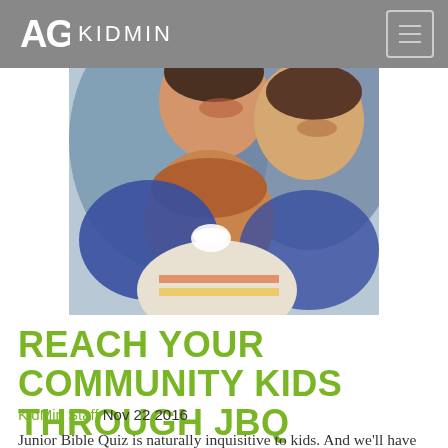AG KIDMIN
[Figure (photo): Three laughing children, photographed from above, piled on top of each other smiling broadly]
REACH YOUR COMMUNITY KIDS THROUGH JBQ
KidMin Staff Nov 22 2016
Junior Bible Quiz is naturally inquisitive to kids. And we'll have JBQ is available at the community